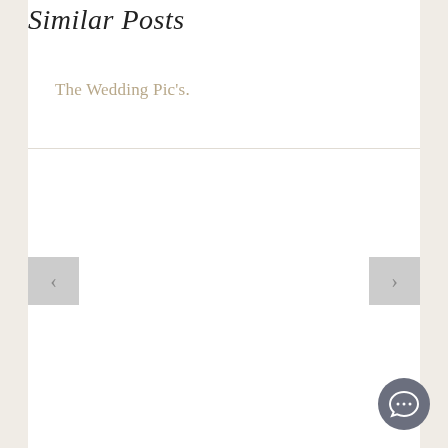Similar Posts
The Wedding Pic's.
[Figure (other): Slideshow/carousel area with previous and next navigation buttons (light gray squares with left and right arrows) on a white background with a top border line]
[Figure (other): Circular chat/comment button icon in dark gray-blue color at bottom right corner]